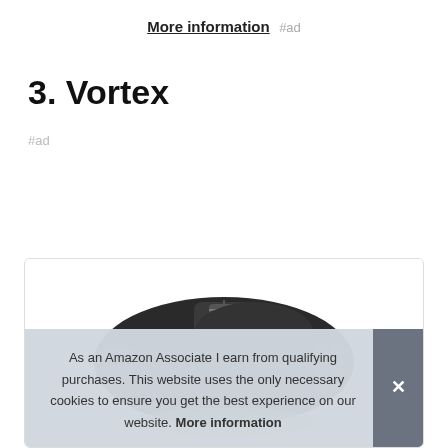More information #ad
3. Vortex
#ad
[Figure (photo): Product photo of Vortex gaming mouse (black), shown from above at an angle inside a bordered card]
As an Amazon Associate I earn from qualifying purchases. This website uses the only necessary cookies to ensure you get the best experience on our website. More information